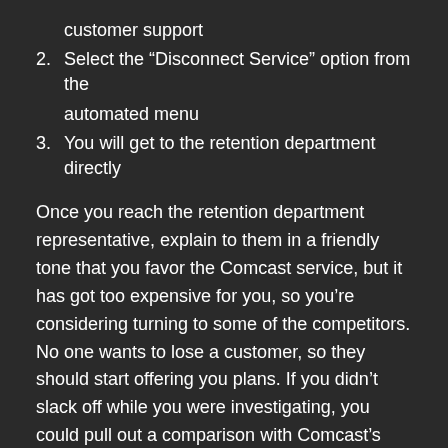customer support
2. Select the “Disconnect Service” option from the automated menu
3. You will get to the retention department directly
Once you reach the retention department representative, explain to them in a friendly tone that you favor the Comcast service, but it has got too expensive for you, so you’re considering turning to some of the competitors. No one wants to lose a customer, so they should start offering you plans. If you didn’t slack off while you were investigating, you could pull out a comparison with Comcast’s competition and use it to make a better deal with them.
Save on equipment rentals